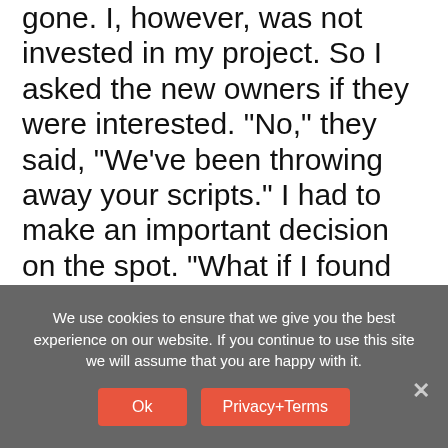gone. I, however, was not invested in my project. So I asked the new owners if they were interested. "No," they said, "We've been throwing away your scripts." I had to make an important decision on the spot. "What if I found sponsors?" I asked. "That would be different! Then we'd broadcast your show!"
I left the station knowing I now needed sponsors, but having no clue how to get them. So I started walking up and down the main street of the town, pitching my still non-existent show to store owners. And they bought sponsorships! If I'd...
We use cookies to ensure that we give you the best experience on our website. If you continue to use this site we will assume that you are happy with it.